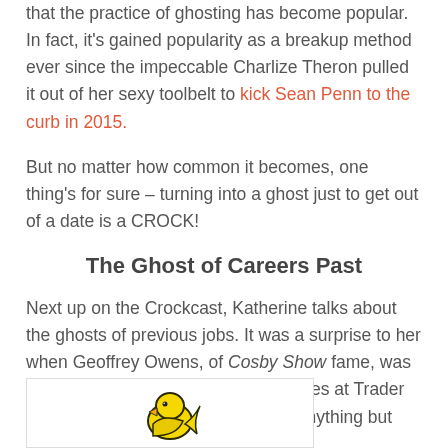that the practice of ghosting has become popular. In fact, it's gained popularity as a breakup method ever since the impeccable Charlize Theron pulled it out of her sexy toolbelt to kick Sean Penn to the curb in 2015.
But no matter how common it becomes, one thing's for sure – turning into a ghost just to get out of a date is a CROCK!
The Ghost of Careers Past
Next up on the Crockcast, Katherine talks about the ghosts of previous jobs. It was a surprise to her when Geoffrey Owens, of Cosby Show fame, was publicly maligned for bagging groceries at Trader Joes. As if an honest day's work is anything but honorable and all good.
[Figure (illustration): Partial view of a yellow bird illustration at the bottom of the page]